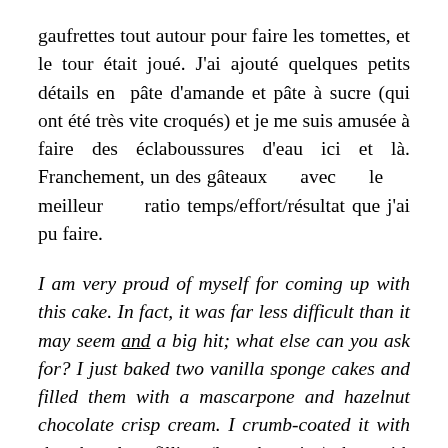gaufrettes tout autour pour faire les tomettes, et le tour était joué. J'ai ajouté quelques petits détails en pâte d'amande et pâte à sucre (qui ont été très vite croqués) et je me suis amusée à faire des éclaboussures d'eau ici et là. Franchement, un des gâteaux avec le meilleur ratio temps/effort/résultat que j'ai pu faire.
I am very proud of myself for coming up with this cake. In fact, it was far less difficult than it may seem and a big hit; what else can you ask for? I just baked two vanilla sponge cakes and filled them with a mascarpone and hazelnut chocolate crisp cream. I crumb-coated it with the chocolate filling (less the crisp) then with fondant. With some piping gel teinted in blue I outlined my swimming pool, put the